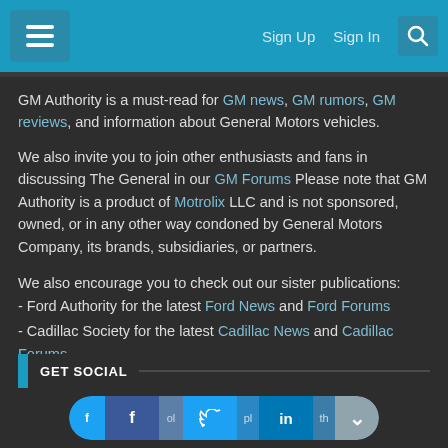Sign Up   Sign In
GM Authority is a must-read for GM news, GM rumors, GM reviews, and information about General Motors vehicles.
We also invite you to join other enthusiasts and fans in discussing The General in our GM Forums Please note that GM Authority is a product of Motrolix LLC and is not sponsored, owned, or in any other way condoned by General Motors Company, its brands, subsidiaries, or partners.
We also encourage you to check out our sister publications:
- Ford Authority for the latest Ford News and Ford Forums
- Cadillac Society for the latest Cadillac News and Cadillac Forums
GET SOCIAL
[Figure (other): Social media sharing buttons showing Facebook, Twitter, LinkedIn, and a more options button]